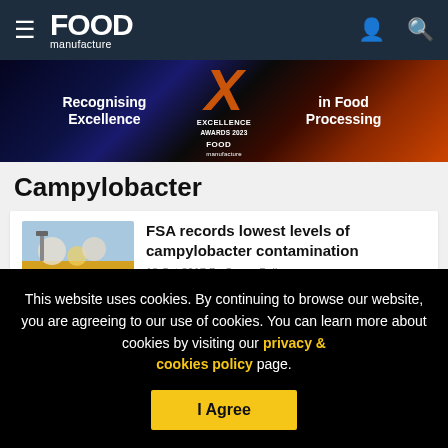Food Manufacture — navigation bar with hamburger menu, logo, user icon, and search icon
[Figure (infographic): Banner advertisement for Food Manufacture Excellence Awards 2023 — 'Recognising Excellence in Food Processing' with large orange X logo]
Campylobacter
[Figure (photo): Thumbnail image showing food processing/campylobacter related content]
FSA records lowest levels of campylobacter contamination
This website uses cookies. By continuing to browse our website, you are agreeing to our use of cookies. You can learn more about cookies by visiting our privacy & cookies policy page.